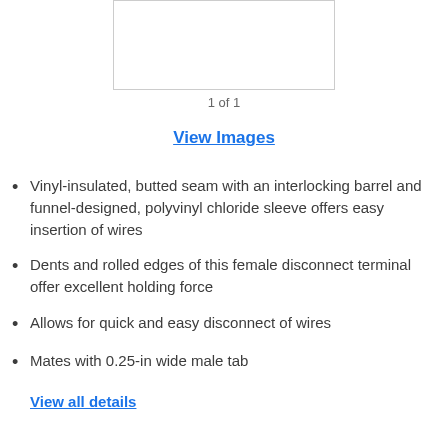[Figure (photo): Product image placeholder box (white rectangle with gray border)]
1 of 1
View Images
Vinyl-insulated, butted seam with an interlocking barrel and funnel-designed, polyvinyl chloride sleeve offers easy insertion of wires
Dents and rolled edges of this female disconnect terminal offer excellent holding force
Allows for quick and easy disconnect of wires
Mates with 0.25-in wide male tab
View all details